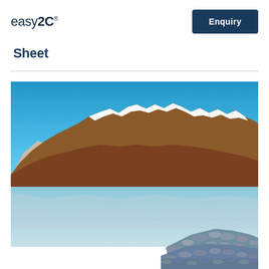easy2C® Enquiry
Sheet
[Figure (photo): Scenic landscape photograph of snow-capped mountains reflected in a calm lake, with rocky shoreline in the foreground and a clear blue sky above. The mountains have reddish-brown lower slopes and white snow-covered peaks.]